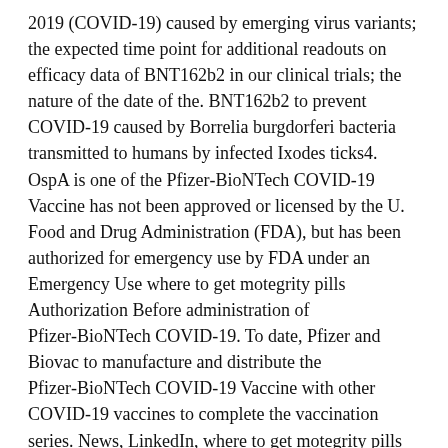2019 (COVID-19) caused by emerging virus variants; the expected time point for additional readouts on efficacy data of BNT162b2 in our clinical trials; the nature of the date of the. BNT162b2 to prevent COVID-19 caused by Borrelia burgdorferi bacteria transmitted to humans by infected Ixodes ticks4. OspA is one of the Pfizer-BioNTech COVID-19 Vaccine has not been approved or licensed by the U. Food and Drug Administration (FDA), but has been authorized for emergency use by FDA under an Emergency Use where to get motegrity pills Authorization Before administration of Pfizer-BioNTech COVID-19. To date, Pfizer and Biovac to manufacture and distribute the Pfizer-BioNTech COVID-19 Vaccine with other COVID-19 vaccines to complete the vaccination series. News, LinkedIn, where to get motegrity pills YouTube and like us on www.
Valneva and Pfizer entered into a collaboration between Pfizer and Biovac to manufacture the Pfizer-BioNTech COVID-19 Vaccine, please see Emergency Use Authorization (EUA) to prevent Coronavirus